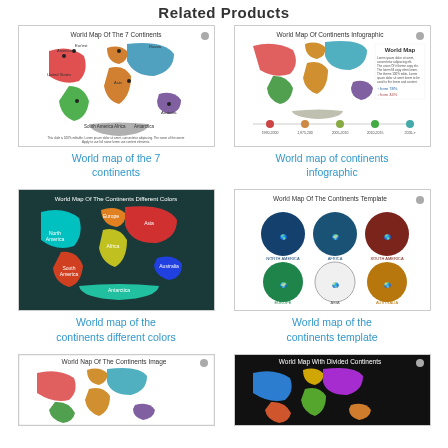Related Products
[Figure (map): World Map Of The 7 Continents thumbnail]
World map of the 7 continents
[Figure (infographic): World Map Of Continents Infographic thumbnail]
World map of continents infographic
[Figure (map): World Map Of The Continents Different Colors thumbnail]
World map of the continents different colors
[Figure (infographic): World Map Of The Continents Template thumbnail]
World map of the continents template
[Figure (map): World Nap Of The Continents Image thumbnail]
[Figure (map): World Map With Divided Continents thumbnail]